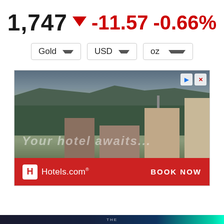1,747 ▼ -11.57 -0.66%
Gold | USD | oz
[Figure (screenshot): Hotels.com advertisement banner showing aerial view of resort with text 'Your hotel awaits' and 'BOOK NOW' button]
[Figure (screenshot): Dark banner at bottom of page]